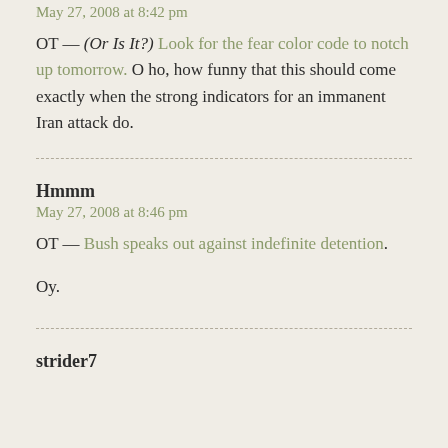May 27, 2008 at 8:42 pm
OT — (Or Is It?) Look for the fear color code to notch up tomorrow. O ho, how funny that this should come exactly when the strong indicators for an immanent Iran attack do.
Hmmm
May 27, 2008 at 8:46 pm
OT — Bush speaks out against indefinite detention. Oy.
strider7